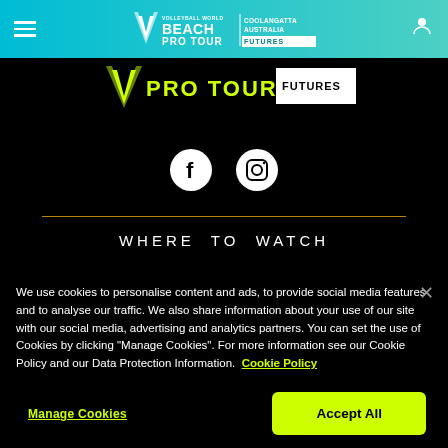[Figure (logo): Volleyball World Beach Pro Tour Coolangatta Australia Futures logo in navigation bar on teal/cyan gradient background]
[Figure (logo): Beach Pro Tour Futures banner strip in black]
[Figure (illustration): Facebook and Instagram social media icons in white circles on black background]
WHERE TO WATCH
We use cookies to personalise content and ads, to provide social media features and to analyse our traffic. We also share information about your use of our site with our social media, advertising and analytics partners. You can set the use of Cookies by clicking “Manage Cookies”. For more information see our Cookie Policy and our Data Protection Information.  Cookie Policy
Manage Cookies
Accept All